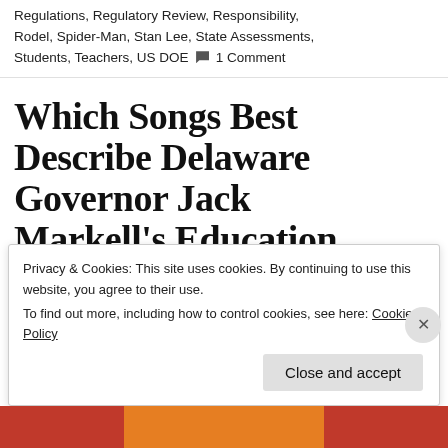Regulations, Regulatory Review, Responsibility, Rodel, Spider-Man, Stan Lee, State Assessments, Students, Teachers, US DOE 💬 1 Comment
Which Songs Best Describe Delaware Governor Jack Markell's Education Policies?
Privacy & Cookies: This site uses cookies. By continuing to use this website, you agree to their use. To find out more, including how to control cookies, see here: Cookie Policy